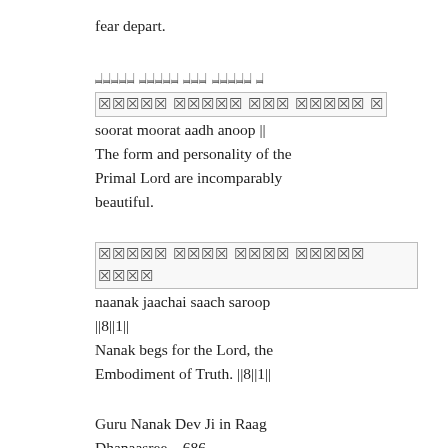fear depart.
ਸੂਰਤਿ ਮੂਰਤਿ ਆਦਿ ਅਨੂਪੁ ॥
soorat moorat aadh anoop ||
The form and personality of the Primal Lord are incomparably beautiful.
ਨਾਨਕੁ ਜਾਚੈ ਸਾਚੁ ਸਰੂਪੁ ॥੮॥੧॥
naanak jaachai saach saroop ||8||1||
Nanak begs for the Lord, the Embodiment of Truth. ||8||1||
Guru Nanak Dev Ji in Raag Dhanaasree – 686